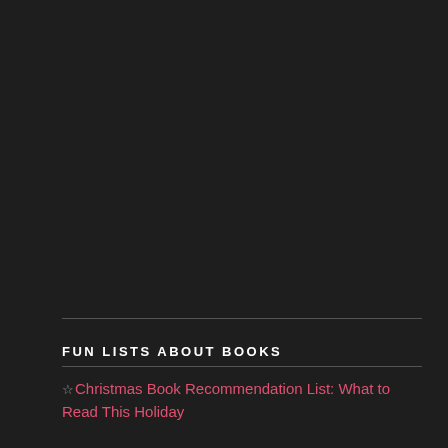FUN LISTS ABOUT BOOKS
☆Christmas Book Recommendation List: What to Read This Holiday